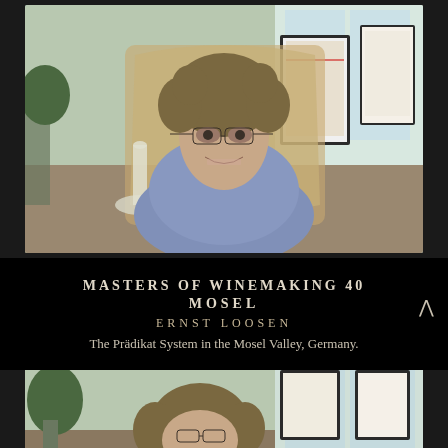[Figure (photo): Man with curly hair and glasses sitting at a table with wine glasses and a decanter, framed certificates visible in the background, indoor setting with windows]
MASTERS OF WINEMAKING 40
MOSEL
ERNST LOOSEN
The Prädikat System in the Mosel Valley, Germany.
[Figure (photo): Partial view of the same man with curly hair and glasses at the same table, bottom portion of the page]